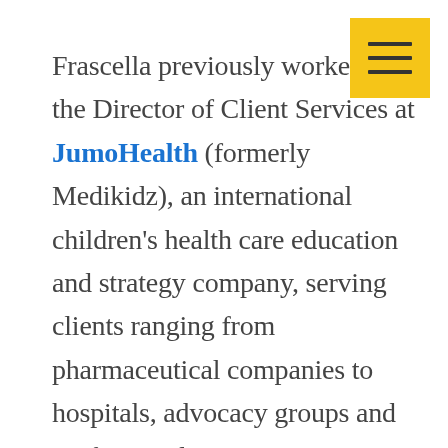[Figure (other): Yellow hamburger menu button with three horizontal bars in the top-right corner]
Frascella previously worked as the Director of Client Services at JumoHealth (formerly Medikidz), an international children's health care education and strategy company, serving clients ranging from pharmaceutical companies to hospitals, advocacy groups and professional associations. A member of the American College of Healthcare Executives (ACHE), she